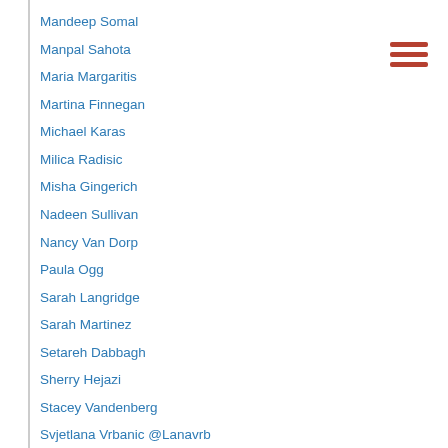Mandeep Somal
Manpal Sahota
Maria Margaritis
Martina Finnegan
Michael Karas
Milica Radisic
Misha Gingerich
Nadeen Sullivan
Nancy Van Dorp
Paula Ogg
Sarah Langridge
Sarah Martinez
Setareh Dabbagh
Sherry Hejazi
Stacey Vandenberg
Svjetlana Vrbanic @Lanavrb
Tamsin Cobb